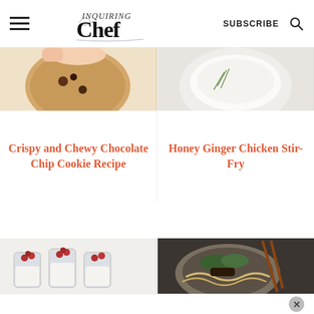Inquiring Chef — SUBSCRIBE
[Figure (photo): Close-up of a chocolate chip cookie held by hand]
[Figure (photo): Top-down view of a white bowl with creamy contents and green herb garnish]
Crispy and Chewy Chocolate Chip Cookie Recipe
Honey Ginger Chicken Stir-Fry
[Figure (photo): Mason jars filled with cranberry yogurt parfaits topped with fresh cranberries]
[Figure (photo): Plate of noodles with greens and beef, garnished with chopsticks]